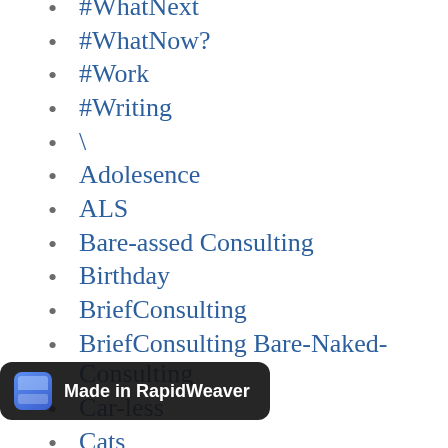#WhatNext
#WhatNow?
#Work
#Writing
\
Adolesence
ALS
Bare-assed Consulting
Birthday
BriefConsulting
BriefConsulting Bare-Naked-Consulting
Car-less
Cats
Change
Christmas
Christmas